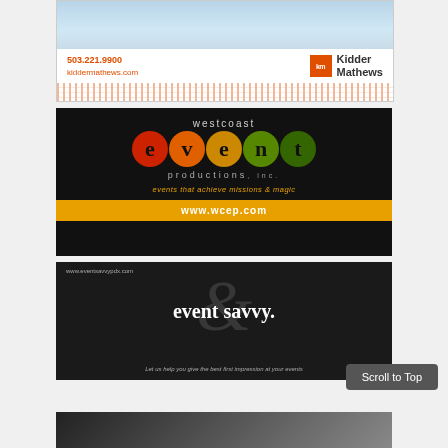[Figure (logo): Kidder Mathews advertisement with phone 503.221.9900, website kiddermathews.com, orange KM logo, and dotted pattern]
[Figure (logo): West Coast Event Productions advertisement on black background with colorful letters in circles, tagline 'events that achieve missions & magic', orange URL bar www.wcep.com]
[Figure (logo): Event Savvy advertisement on dark background with large script ampersand, website www.eventsavvypdx.com, tagline 'Let us help you give the best first impression at your events']
Scroll to Top
[Figure (photo): Partial black and white photo at bottom of page]